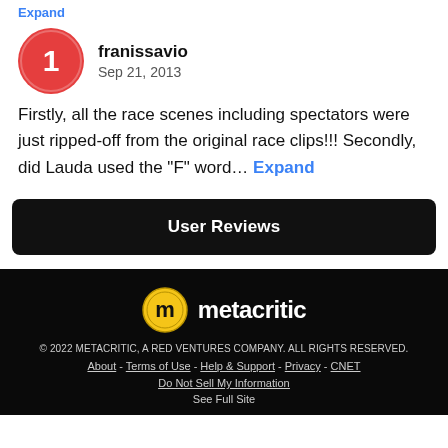Expand
franissavio
Sep 21, 2013
Firstly, all the race scenes including spectators were just ripped-off from the original race clips!!! Secondly, did Lauda used the "F" word... Expand
User Reviews
[Figure (logo): Metacritic logo: stylized M in a circle with the text 'metacritic']
© 2022 METACRITIC, A RED VENTURES COMPANY. ALL RIGHTS RESERVED.
About - Terms of Use - Help & Support - Privacy - CNET
Do Not Sell My Information
See Full Site